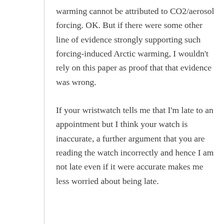warming cannot be attributed to CO2/aerosol forcing. OK. But if there were some other line of evidence strongly supporting such forcing-induced Arctic warming, I wouldn't rely on this paper as proof that that evidence was wrong.
If your wristwatch tells me that I'm late to an appointment but I think your watch is inaccurate, a further argument that you are reading the watch incorrectly and hence I am not late even if it were accurate makes me less worried about being late.